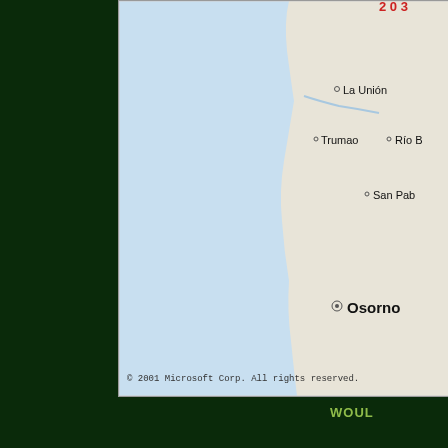[Figure (map): Partial map screenshot showing a coastal region of southern Chile with cities labeled: La Unión, Trumao, Río B[ueno] (partially visible), San Pab[lo] (partially visible), and Osorno (bolded). The map has a light blue ocean area on the left and a beige/tan land area on the right. Copyright notice reads: © 2001 Microsoft Corp. All rights reserved.]
WOUL